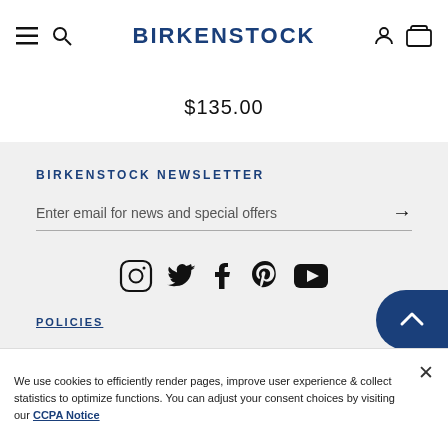BIRKENSTOCK
$135.00
BIRKENSTOCK NEWSLETTER
Enter email for news and special offers
[Figure (other): Social media icons: Instagram, Twitter, Facebook, Pinterest, YouTube]
POLICIES
We use cookies to efficiently render pages, improve user experience & collect statistics to optimize functions. You can adjust your consent choices by visiting our CCPA Notice